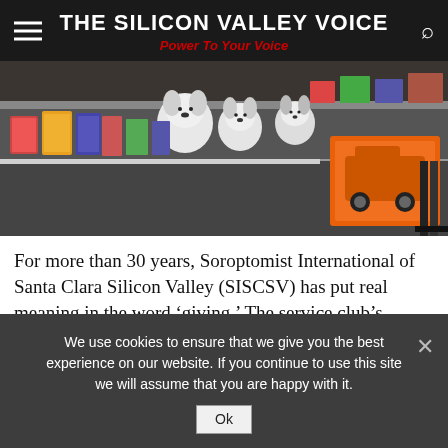THE SILICON VALLEY VOICE
Power To Your Voice
[Figure (photo): Photo of toys and stuffed animals (including Snoopy plush toys) arranged on tables in a school cafeteria, with a toy truck visible on the right side.]
For more than 30 years, Soroptomist International of Santa Clara Silicon Valley (SISCSV) has put real meaning in the word ‘giving.’ The service club’s annual free holiday “store” gives families who couldn’t otherwise afford it the gift of a merry Christmas. This year, 114 families – and 270 children – went “shopping” in the Haman Elementary School cafeteria on Dec. 5.
In addition to gifts for each of their children, shoppers go home
We use cookies to ensure that we give you the best experience on our website. If you continue to use this site we will assume that you are happy with it.